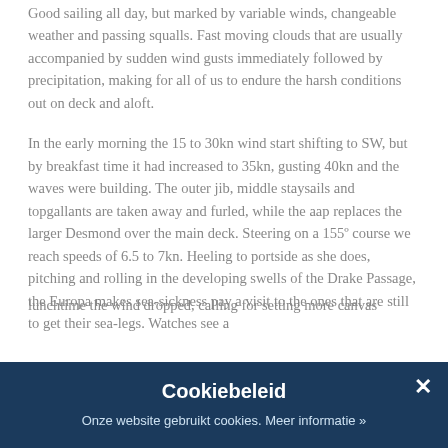Good sailing all day, but marked by variable winds, changeable weather and passing squalls. Fast moving clouds that are usually accompanied by sudden wind gusts immediately followed by precipitation, making for all of us to endure the harsh conditions out on deck and aloft.
In the early morning the 15 to 30kn wind start shifting to SW, but by breakfast time it had increased to 35kn, gusting 40kn and the waves were building. The outer jib, middle staysails and topgallants are taken away and furled, while the aap replaces the larger Desmond over the main deck. Steering on a 155º course we reach speeds of 6.5 to 7kn. Heeling to portside as she does, pitching and rolling in the developing swells of the Drake Passage, the Europa makes sea-sickness pay a visit to the ones that are still to get their sea-legs. Watches see a
lunchtime the wind dropped, calling for setting more canvas
Cookiebeleid
Onze website gebruikt cookies. Meer informatie »